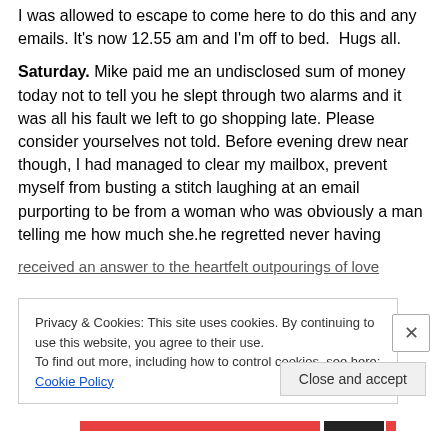I was allowed to escape to come here to do this and any emails. It's now 12.55 am and I'm off to bed. Hugs all.
Saturday. Mike paid me an undisclosed sum of money today not to tell you he slept through two alarms and it was all his fault we left to go shopping late. Please consider yourselves not told. Before evening drew near though, I had managed to clear my mailbox, prevent myself from busting a stitch laughing at an email purporting to be from a woman who was obviously a man telling me how much she.he regretted never having received an answer to the heartfelt outpourings of love
Privacy & Cookies: This site uses cookies. By continuing to use this website, you agree to their use.
To find out more, including how to control cookies, see here: Cookie Policy
Close and accept